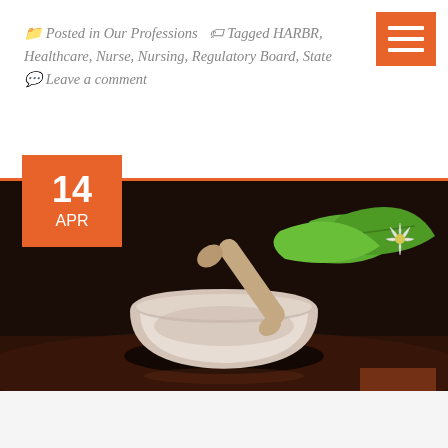Posted in Our Professions   Tagged HARBR, Healthcare, Nurse, Nursing, Regulatory Board, State   Leave a comment
[Figure (photo): Mortar and pestle with green herb leaves and flower on a dark wooden surface, suggesting naturopathy or herbal medicine.]
Naturopaths